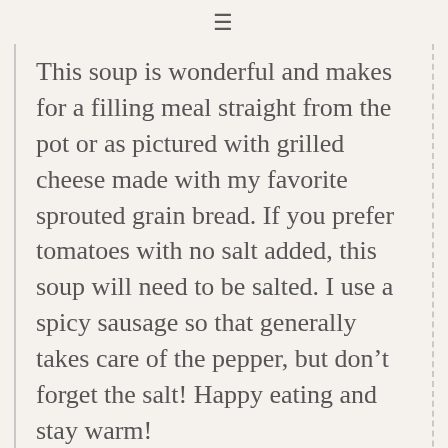≡
This soup is wonderful and makes for a filling meal straight from the pot or as pictured with grilled cheese made with my favorite sprouted grain bread. If you prefer tomatoes with no salt added, this soup will need to be salted. I use a spicy sausage so that generally takes care of the pepper, but don't forget the salt! Happy eating and stay warm!
Author: Laura Thompson
Serves: 4
Ingredients